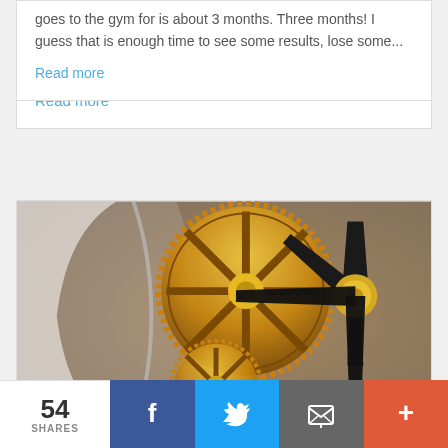goes to the gym for is about 3 months. Three months! I guess that is enough time to see some results, lose some...
Read more
[Figure (photo): Close-up photograph of brass clock gears and black clock hands with a gold center knob]
54 SHARES
[Figure (infographic): Social share bar with Facebook, Twitter, Email, and More buttons]